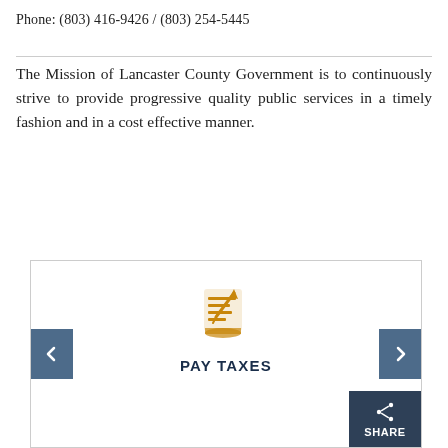Phone: (803) 416-9426 / (803) 254-5445
The Mission of Lancaster County Government is to continuously strive to provide progressive quality public services in a timely fashion and in a cost effective manner.
[Figure (infographic): Carousel widget showing 'PAY TAXES' with a gold document/pen icon, left and right navigation arrows on a slate-blue background, and a SHARE button in the bottom right corner.]